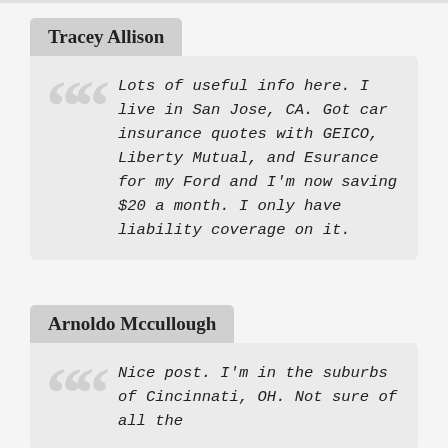Tracey Allison
Lots of useful info here. I live in San Jose, CA. Got car insurance quotes with GEICO, Liberty Mutual, and Esurance for my Ford and I'm now saving $20 a month. I only have liability coverage on it.
Arnoldo Mccullough
Nice post. I'm in the suburbs of Cincinnati, OH. Not sure of all the